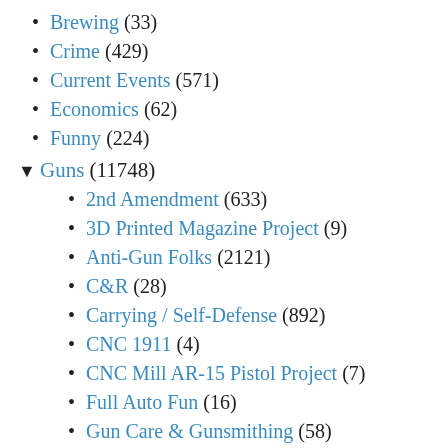Brewing (33)
Crime (429)
Current Events (571)
Economics (62)
Funny (224)
▼ Guns (11748)
2nd Amendment (633)
3D Printed Magazine Project (9)
Anti-Gun Folks (2121)
C&R (28)
Carrying / Self-Defense (892)
CNC 1911 (4)
CNC Mill AR-15 Pistol Project (7)
Full Auto Fun (16)
Gun Care & Gunsmithing (58)
Gun Porn (209)